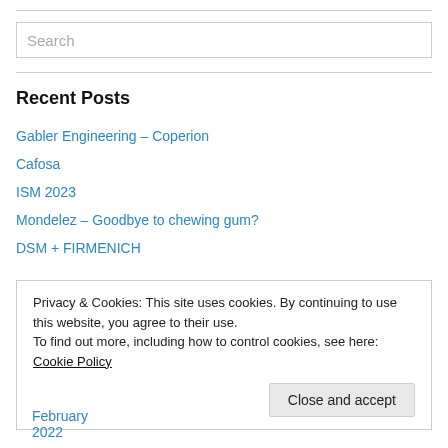[Figure (other): Search input box with placeholder text 'Search']
Recent Posts
Gabler Engineering – Coperion
Cafosa
ISM 2023
Mondelez – Goodbye to chewing gum?
DSM + FIRMENICH
Privacy & Cookies: This site uses cookies. By continuing to use this website, you agree to their use. To find out more, including how to control cookies, see here: Cookie Policy
February 2022